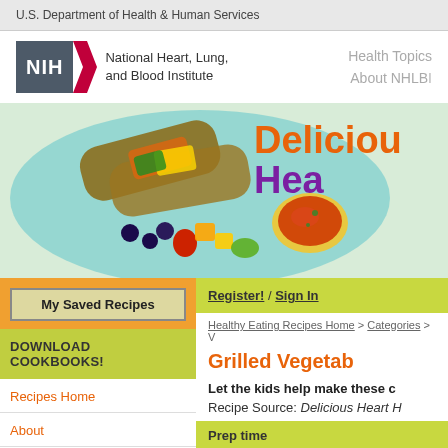U.S. Department of Health & Human Services
[Figure (logo): NIH National Heart, Lung, and Blood Institute logo with dark grey box containing NIH text and red chevron arrow, followed by institute name]
Health Topics
About NHLBI
[Figure (photo): Hero image showing a plate with grilled vegetable wraps and fresh fruit salad including strawberries, blueberries, and mango, with a bowl of salsa, accompanied by text 'Delicious Heart' in orange and purple]
My Saved Recipes
DOWNLOAD COOKBOOKS!
Recipes Home
About
All Healthy Eating Recipes
Healthy Dinners
Register! / Sign In
Healthy Eating Recipes Home > Categories > V
Grilled Vegetab
Let the kids help make these c
Recipe Source: Delicious Heart H
Prep time